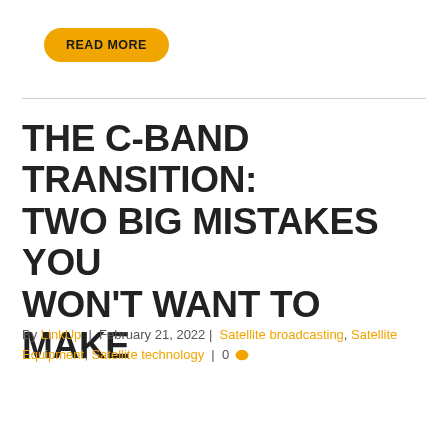READ MORE
THE C-BAND TRANSITION: TWO BIG MISTAKES YOU WON'T WANT TO MAKE
By LinkUp | February 21, 2022 | Satellite broadcasting, Satellite Equipment, Satellite technology | 0